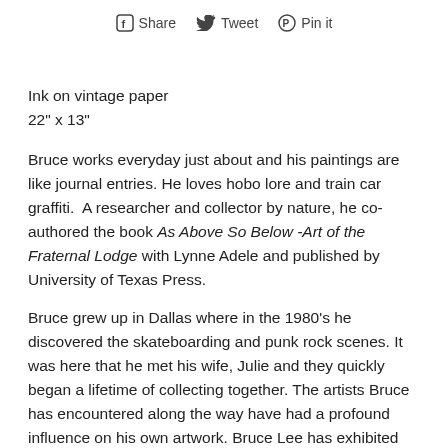Share  Tweet  Pin it
Ink on vintage paper
22" x 13"
Bruce works everyday just about and his paintings are like journal entries. He loves hobo lore and train car graffiti.  A researcher and collector by nature, he co-authored the book As Above So Below -Art of the Fraternal Lodge with Lynne Adele and published by University of Texas Press.
Bruce grew up in Dallas where in the 1980's he discovered the skateboarding and punk rock scenes. It was here that he met his wife, Julie and they quickly began a lifetime of collecting together. The artists Bruce has encountered along the way have had a profound influence on his own artwork. Bruce Lee has exhibited internationally and finds his work going to collections